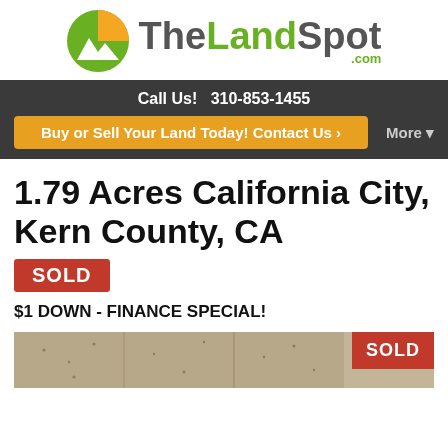[Figure (logo): TheLandSpot.com logo with mountain/sun icon and green/grey text]
Call Us!  310-853-1455
Buy or Sell Your Land Today! Contact Us ›
More ▾
1.79 Acres California City, Kern County, CA
SOLD
$1 DOWN - FINANCE SPECIAL!
[Figure (photo): Aerial/satellite view of desert land parcel with SOLD badge overlay]